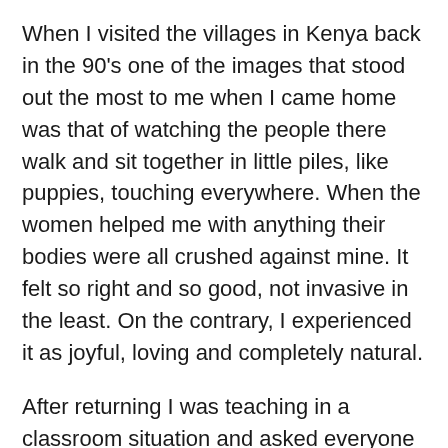When I visited the villages in Kenya back in the 90's one of the images that stood out the most to me when I came home was that of watching the people there walk and sit together in little piles, like puppies, touching everywhere. When the women helped me with anything their bodies were all crushed against mine. It felt so right and so good, not invasive in the least. On the contrary, I experienced it as joyful, loving and completely natural.
After returning I was teaching in a classroom situation and asked everyone to sit on the floor. They did, with probably 2-4 feet distance between each body. That really hit me. I thought – in Africa this would never happen! They would be all crushed together. There's something so right about that! There are healing, healthy chemicals released into our cells and brains from the simple act of touch. The